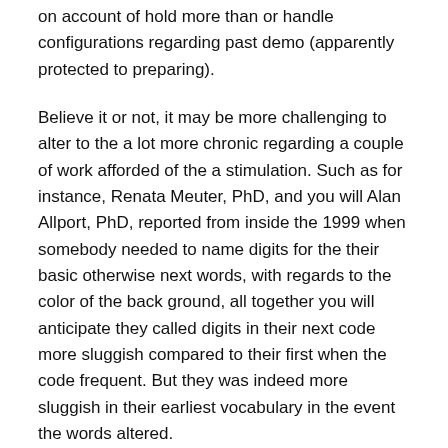on account of hold more than or handle configurations regarding past demo (apparently protected to preparing).
Believe it or not, it may be more challenging to alter to the a lot more chronic regarding a couple of work afforded of the a stimulation. Such as for instance, Renata Meuter, PhD, and you will Alan Allport, PhD, reported from inside the 1999 when somebody needed to name digits for the their basic otherwise next words, with regards to the color of the back ground, all together you will anticipate they called digits in their next code more sluggish compared to their first when the code frequent. But they was indeed more sluggish in their earliest vocabulary in the event the words altered.
During the tests wrote during the 2001, Joshua Rubinstein, PhD, Jeffrey Evans, PhD, and you will David Meyer, PhD, used four experiments where teenagers transformed anywhere between different opportunities, like fixing mathematics trouble otherwise classifying mathematical stuff. For all jobs, the players destroyed